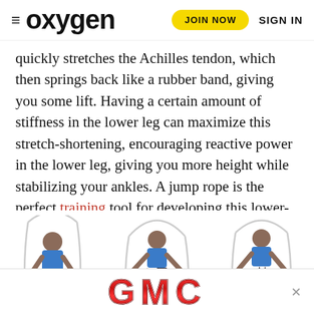≡ oxygen  JOIN NOW  SIGN IN
quickly stretches the Achilles tendon, which then springs back like a rubber band, giving you some lift. Having a certain amount of stiffness in the lower leg can maximize this stretch-shortening, encouraging reactive power in the lower leg, giving you more height while stabilizing your ankles. A jump rope is the perfect training tool for developing this lower-leg stiffness, resulting in a higher vertical and a faster 5K.
[Figure (photo): Three sequential images of a woman in a blue sports bra and dark leggings jumping rope in different poses: deep squat with rope arcing overhead, mid-jump with one knee raised, and running skip with rope.]
[Figure (logo): GMC advertisement banner in red metallic letters on white background with a close/X button on the right.]